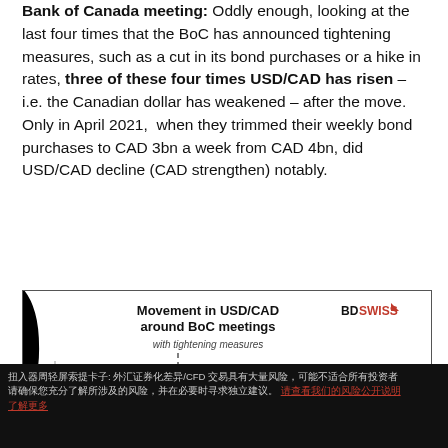Bank of Canada meeting: Oddly enough, looking at the last four times that the BoC has announced tightening measures, such as a cut in its bond purchases or a hike in rates, three of these four times USD/CAD has risen – i.e. the Canadian dollar has weakened – after the move. Only in April 2021, when they trimmed their weekly bond purchases to CAD 3bn a week from CAD 4bn, did USD/CAD decline (CAD strengthen) notably.
[Figure (line-chart): Line chart showing movement in USD/CAD around BoC meetings with tightening measures. Multiple colored lines (red, teal, gray, black, blue) showing percent movement. Y-axis shows 1% and 2% markers. A dashed vertical line marks 'Day before meeting'.]
Disclaimer text in non-Latin script about CFD trading risks with a link.